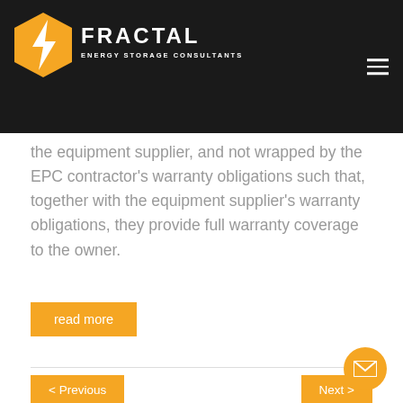Fractal Energy Storage Consultants
the equipment supplier, and not wrapped by the EPC contractor's warranty obligations such that, together with the equipment supplier's warranty obligations, they provide full warranty coverage to the owner.
read more
< Previous
Next >